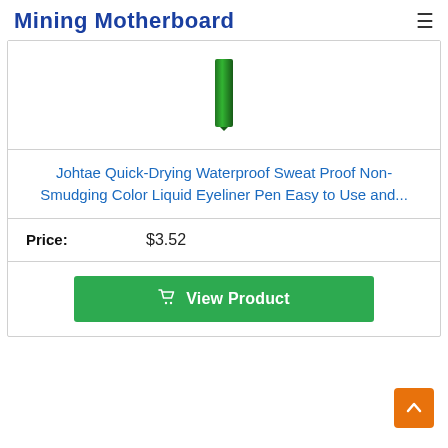Mining Motherboard
[Figure (photo): Product image of a green eyeliner pen shown vertically]
Johtae Quick-Drying Waterproof Sweat Proof Non-Smudging Color Liquid Eyeliner Pen Easy to Use and...
Price: $3.52
View Product